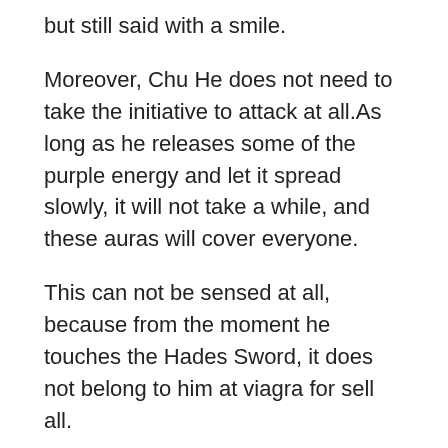but still said with a smile.
Moreover, Chu He does not need to take the initiative to attack at all.As long as he releases some of the purple energy and let it spread slowly, it will not take a while, and these auras will cover everyone.
This can not be sensed at all, because from the moment he touches the Hades Sword, it does not belong to him at viagra for sell all.
The pattern was formed, and one after another purple lightning slashed towards the whale spirit.
A burst of fragrance wafted out constantly, and the smell made people appetizing.The little unicorn on the side watched his tongue licking his lips, the taste was so authentic, the beasts he ate before were all eaten raw, and now rhino pills online After Male Enhancement Pills…